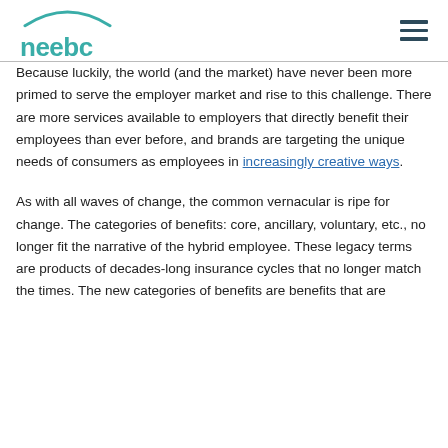neebc
Because luckily, the world (and the market) have never been more primed to serve the employer market and rise to this challenge. There are more services available to employers that directly benefit their employees than ever before, and brands are targeting the unique needs of consumers as employees in increasingly creative ways.
As with all waves of change, the common vernacular is ripe for change. The categories of benefits: core, ancillary, voluntary, etc., no longer fit the narrative of the hybrid employee. These legacy terms are products of decades-long insurance cycles that no longer match the times. The new categories of benefits are benefits that are